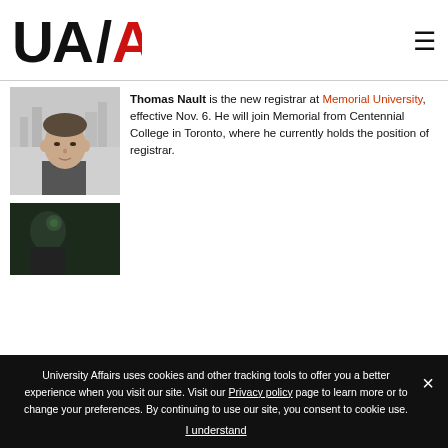[Figure (logo): UA/AU University Affairs logo in black and red]
[Figure (photo): Black and white photo of Thomas Nault, a man looking at camera]
Thomas Nault is the new registrar at Memorial University, effective Nov. 6. He will join Memorial from Centennial College in Toronto, where he currently holds the position of registrar.
[Figure (photo): Dark photo of a person, partially visible]
University Affairs uses cookies and other tracking tools to offer you a better experience when you visit our site. Visit our Privacy policy page to learn more or to change your preferences. By continuing to use our site, you consent to cookie use.
I understand